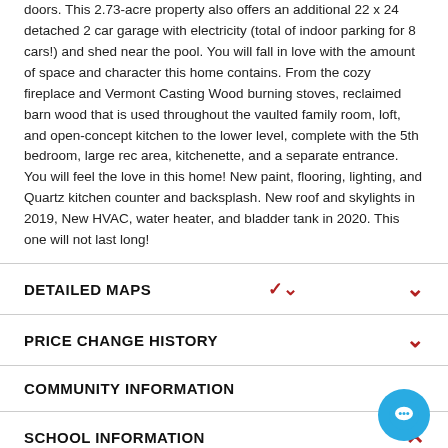doors. This 2.73-acre property also offers an additional 22 x 24 detached 2 car garage with electricity (total of indoor parking for 8 cars!) and shed near the pool. You will fall in love with the amount of space and character this home contains. From the cozy fireplace and Vermont Casting Wood burning stoves, reclaimed barn wood that is used throughout the vaulted family room, loft, and open-concept kitchen to the lower level, complete with the 5th bedroom, large rec area, kitchenette, and a separate entrance. You will feel the love in this home! New paint, flooring, lighting, and Quartz kitchen counter and backsplash. New roof and skylights in 2019, New HVAC, water heater, and bladder tank in 2020. This one will not last long!
DETAILED MAPS
PRICE CHANGE HISTORY
COMMUNITY INFORMATION
SCHOOL INFORMATION